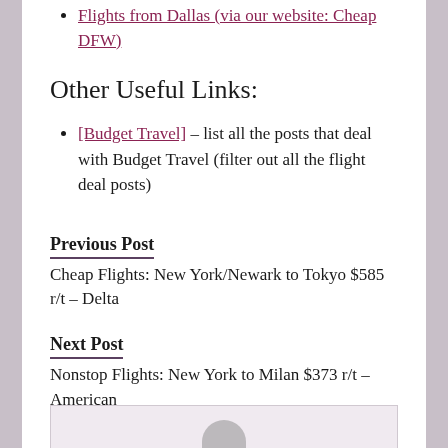Flights from Dallas (via our website: Cheap DFW)
Other Useful Links:
[Budget Travel] – list all the posts that deal with Budget Travel (filter out all the flight deal posts)
Previous Post
Cheap Flights: New York/Newark to Tokyo $585 r/t – Delta
Next Post
Nonstop Flights: New York to Milan $373 r/t – American
[Figure (other): Bottom partial image/box, partially visible at bottom of page]